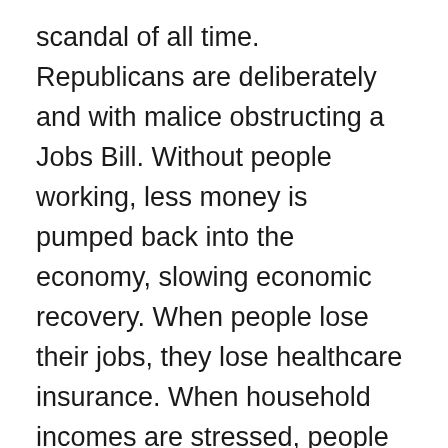scandal of all time.  Republicans are deliberately and with malice obstructing a Jobs Bill. Without people working, less money is pumped back into the economy, slowing economic recovery. When people lose their jobs, they lose healthcare insurance. When household incomes are stressed, people wait until the last moment to seek medical help. That help is usually in the form of an Emergency Room visit which is the most expensive healthcare available. This puts an enormous burden on the economy for America. For the patients, if they are lucky they will get a bill they can't pay. The unlucky ones die because they waited too late to go to the ER. Death comes in other forms too like, suicide, crime, and accidents of all kinds because of neglected repairs like fixing bad brakes on cars. Americans are needlessly dying every day because Congress is too busy playing politics.